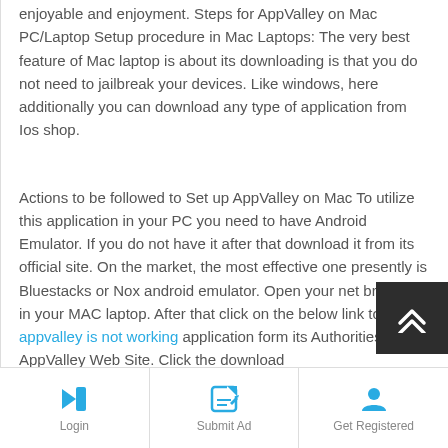enjoyable and enjoyment. Steps for AppValley on Mac PC/Laptop Setup procedure in Mac Laptops: The very best feature of Mac laptop is about its downloading is that you do not need to jailbreak your devices. Like windows, here additionally you can download any type of application from Ios shop.
Actions to be followed to Set up AppValley on Mac To utilize this application in your PC you need to have Android Emulator. If you do not have it after that download it from its official site. On the market, the most effective one presently is Bluestacks or Nox android emulator. Open your net browser in your MAC laptop. After that click on the below link to down appvalley is not working application form its Authorities AppValley Web Site. Click the download